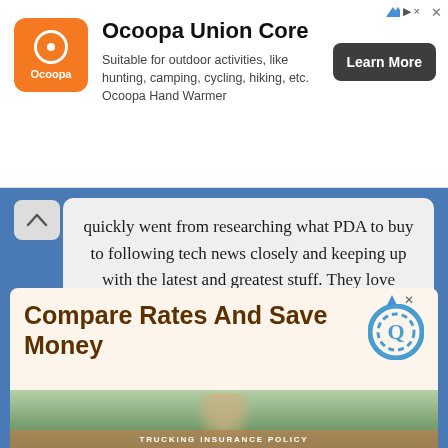[Figure (screenshot): Top advertisement banner for Ocoopa Union Core hand warmer. Orange logo icon on left, product name as title, description text, and 'Learn More' dark button on right.]
quickly went from researching what PDA to buy to following tech news closely and keeping up with the latest and greatest stuff. They love writing about ebooks because they combine their two favorite activities; reading anything and everything, and talking about fun new tech toys. What could be better?
[Figure (screenshot): Bottom advertisement: 'Compare Rates And Save Money' in bold brown text with a circular Q logo on right, and a photo strip below showing a person in a white hat outdoors with 'TRUCKING INSURANCE POLICY' text overlay.]